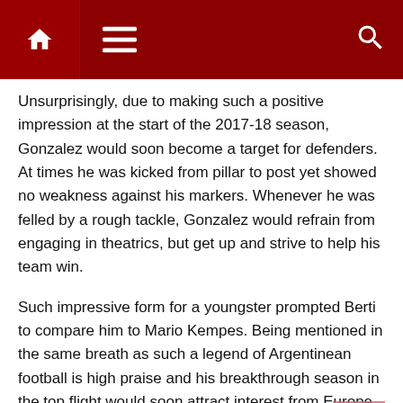Navigation bar with home, menu, and search icons
Unsurprisingly, due to making such a positive impression at the start of the 2017-18 season, Gonzalez would soon become a target for defenders. At times he was kicked from pillar to post yet showed no weakness against his markers. Whenever he was felled by a rough tackle, Gonzalez would refrain from engaging in theatrics, but get up and strive to help his team win.
Such impressive form for a youngster prompted Berti to compare him to Mario Kempes. Being mentioned in the same breath as such a legend of Argentinean football is high praise and his breakthrough season in the top flight would soon attract interest from Europe. Summer 2018 saw Italian giants Inter linked but Stuttgart were quick to nab Gonzalez after scouting the forward extensively last season.